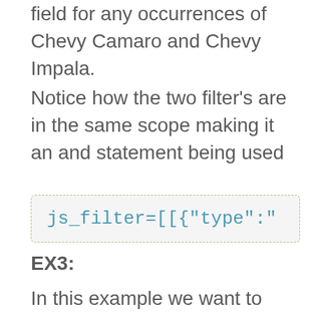field for any occurrences of Chevy Camaro and Chevy Impala.
Notice how the two filter's are in the same scope making it an and statement being used
js_filter=[[{"type":"
EX3:
In this example we want to search